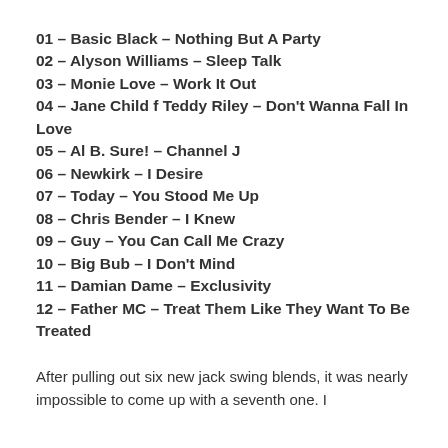01 – Basic Black – Nothing But A Party
02 – Alyson Williams – Sleep Talk
03 – Monie Love – Work It Out
04 – Jane Child f Teddy Riley – Don't Wanna Fall In Love
05 – Al B. Sure! – Channel J
06 – Newkirk – I Desire
07 – Today – You Stood Me Up
08 – Chris Bender – I Knew
09 – Guy – You Can Call Me Crazy
10 – Big Bub – I Don't Mind
11 – Damian Dame – Exclusivity
12 – Father MC – Treat Them Like They Want To Be Treated
After pulling out six new jack swing blends, it was nearly impossible to come up with a seventh one. I